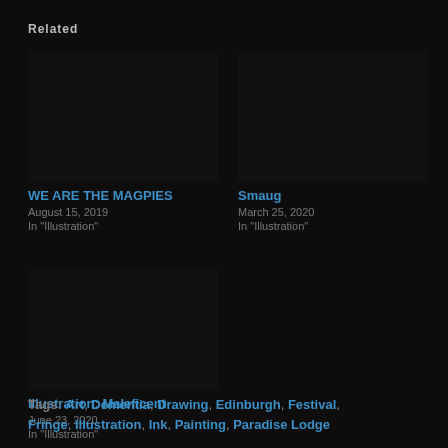Related
[Figure (photo): Dark/black image placeholder for WE ARE THE MAGPIES post]
WE ARE THE MAGPIES
August 15, 2019
In "Illustration"
[Figure (photo): Dark/black image placeholder for Smaug post]
Smaug
March 25, 2020
In "Illustration"
[Figure (photo): Dark/black image placeholder for Illustration: Maleficent post]
Illustration: Maleficent
June 23, 2020
In "Illustration"
Tags: Art, Dementia, Drawing, Edinburgh, Festival, Fringe, Illustration, Ink, Painting, Paradise Lodge